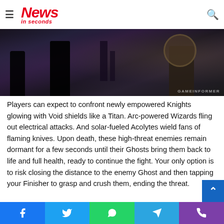News in seconds
[Figure (screenshot): Dark fantasy game screenshot showing armored Knights in a foggy, dark environment with purple-toned lighting. GAMEINFORMER watermark visible in bottom right.]
Players can expect to confront newly empowered Knights glowing with Void shields like a Titan. Arc-powered Wizards fling out electrical attacks. And solar-fueled Acolytes wield fans of flaming knives. Upon death, these high-threat enemies remain dormant for a few seconds until their Ghosts bring them back to life and full health, ready to continue the fight. Your only option is to risk closing the distance to the enemy Ghost and then tapping your Finisher to grasp and crush them, ending the threat.
Facebook Twitter WhatsApp Telegram Phone